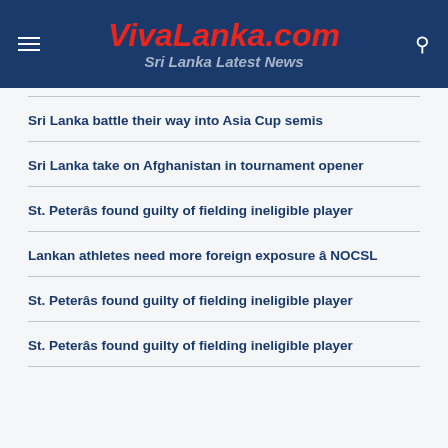VivaLanka.com Sri Lanka Latest News
Sri Lanka battle their way into Asia Cup semis
Sri Lanka take on Afghanistan in tournament opener
St. Peterâs found guilty of fielding ineligible player
Lankan athletes need more foreign exposure â NOCSL
St. Peterâs found guilty of fielding ineligible player
St. Peterâs found guilty of fielding ineligible player